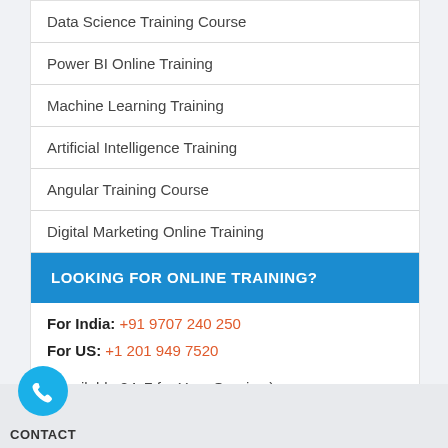Data Science Training Course
Power BI Online Training
Machine Learning Training
Artificial Intelligence Training
Angular Training Course
Digital Marketing Online Training
LOOKING FOR ONLINE TRAINING?
For India: +91 9707 240 250
For US: +1 201 949 7520
( Available 24x7 for Your Queries )
CONTACT